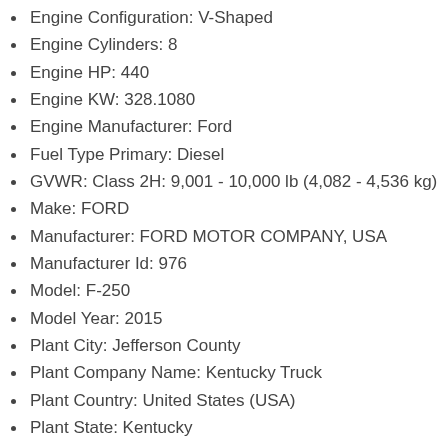Engine Configuration: V-Shaped
Engine Cylinders: 8
Engine HP: 440
Engine KW: 328.1080
Engine Manufacturer: Ford
Fuel Type Primary: Diesel
GVWR: Class 2H: 9,001 - 10,000 lb (4,082 - 4,536 kg)
Make: FORD
Manufacturer: FORD MOTOR COMPANY, USA
Manufacturer Id: 976
Model: F-250
Model Year: 2015
Plant City: Jefferson County
Plant Company Name: Kentucky Truck
Plant Country: United States (USA)
Plant State: Kentucky